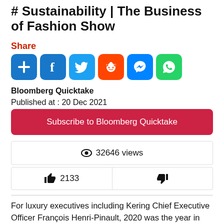# Sustainability | The Business of Fashion Show
Share
[Figure (other): Social share buttons: AddThis, Facebook, Twitter, Reddit, Messenger, WhatsApp]
Bloomberg Quicktake
Published at : 20 Dec 2021
Subscribe to Bloomberg Quicktake
👁 32646 views
👍 2133
👎
For luxury executives including Kering Chief Executive Officer François Henri-Pinault, 2020 was the year in which the industry forever changed. Amid the arrival of the coronavirus, companies such as his suffered their worst year on record. Consumer behavior shifted even